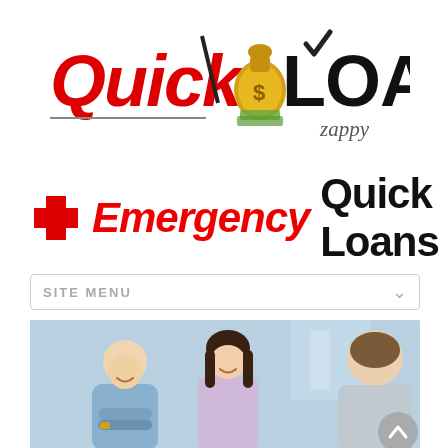[Figure (logo): Quick$Loans Zappy logo with red italic 'Quick' text, money bag graphic, checkmark, and black bold 'LOANS', with 'zappy' subtitle in italic below]
Emergency Quick Loans
SITE MENU
[Figure (photo): Two people (man and woman) smiling, sitting across from a person in a business meeting or loan consultation setting]